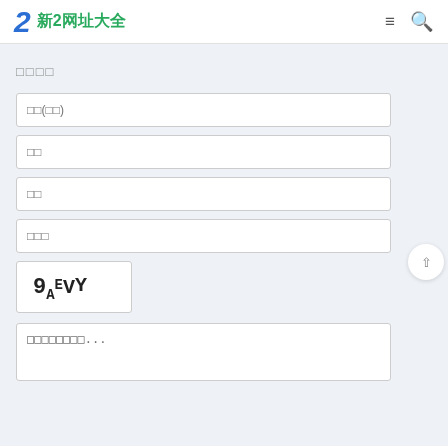新2网址大全
□□□□
□□(□□)
□□
□□
□□□
[Figure (other): CAPTCHA image showing text: 9A EVY]
□□□□□□□□...